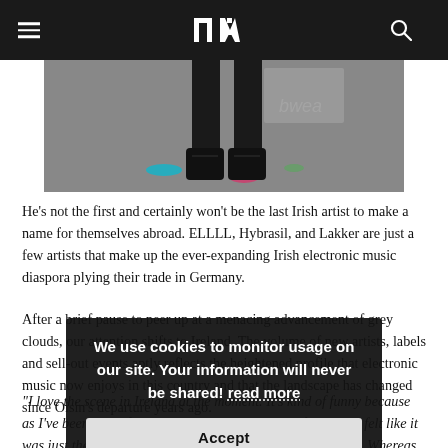≡  [logo]  🔍
[Figure (photo): Lower half of a person wearing all-black clothing and black boots/shoes, standing in front of a graffiti-covered concrete wall with rubble on the ground and colorful paint splatters.]
He's not the first and certainly won't be the last Irish artist to make a name for themselves abroad. ELLLL, Hybrasil, and Lakker are just a few artists that make up the ever-expanding Irish electronic music diaspora plying their trade in Germany.
After a brief pause to peer up at a menacing advancement of grey clouds, our attention shifts to Ireland. The volume of new artists, labels and sell-out events aptly reflects the heightened profile that electronic music now enjoys in this country and that the landscape has changed since Oisin's departure years ago.
"I love the scene in Ireland at the moment. It's kind of funny because as I've been away for so long, I get excited about it and for years I felt like it was just the kind of funkier, housey-dancey stuff coming out. Whereas now I feel like there's been a huge shift into the savey, breaks and big...
We use cookies to monitor usage on our site. Your information will never be shared! read more
Accept